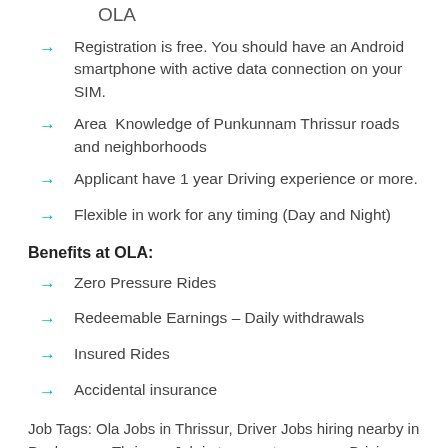OLA
Registration is free. You should have an Android smartphone with active data connection on your SIM.
Area  Knowledge of Punkunnam Thrissur roads and neighborhoods
Applicant have 1 year Driving experience or more.
Flexible in work for any timing (Day and Night)
Benefits at OLA:
Zero Pressure Rides
Redeemable Earnings – Daily withdrawals
Insured Rides
Accidental insurance
Job Tags: Ola Jobs in Thrissur, Driver Jobs hiring nearby in Punkunnam Thrissur, Job in transport company, Driving job near in Thrissur, OLA Career,